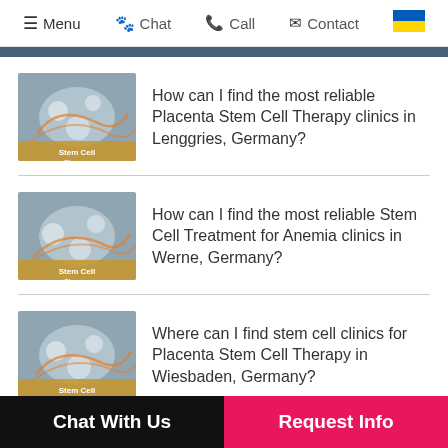Menu  Chat  Call  Contact
How can I find the most reliable Placenta Stem Cell Therapy clinics in Lenggries, Germany?
How can I find the most reliable Stem Cell Treatment for Anemia clinics in Werne, Germany?
Where can I find stem cell clinics for Placenta Stem Cell Therapy in Wiesbaden, Germany?
How can I find the most reliable Stem
Chat With Us   Request Info